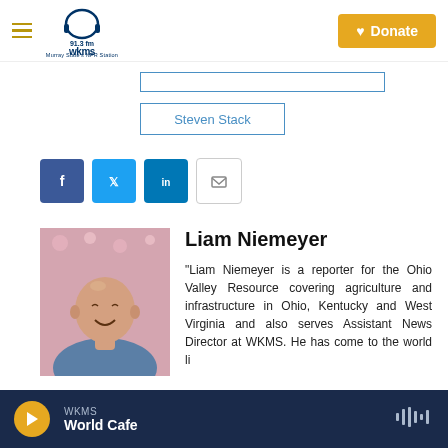[Figure (logo): WKMS 91.3 FM Murray State's NPR Station logo with headphones icon]
Donate
Steven Stack
[Figure (infographic): Social sharing buttons: Facebook, Twitter, LinkedIn, Email]
[Figure (photo): Headshot photo of Liam Niemeyer, a smiling bald man in a blue shirt with pink blossoms in background]
Liam Niemeyer
"Liam Niemeyer is a reporter for the Ohio Valley Resource covering agriculture and infrastructure in Ohio, Kentucky and West Virginia and also serves Assistant News Director at WKMS. He has...
WKMS World Cafe